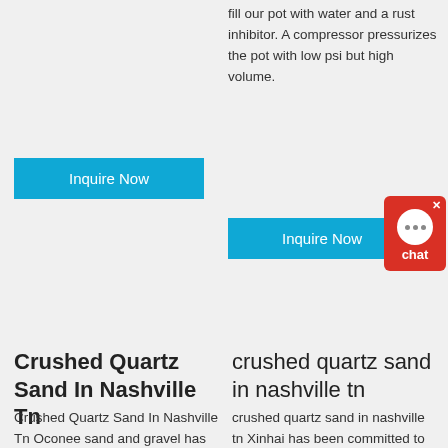fill our pot with water and a rust inhibitor. A compressor pressurizes the pot with low psi but high volume.
Inquire Now
Inquire Now
[Figure (other): Red chat widget with speech bubble icon and 'chat' label]
Crushed Quartz Sand In Nashville Tn
crushed quartz sand in nashville tn
Crushed Quartz Sand In Nashville Tn Oconee sand and gravel has supplied pilot builders, inc., at lake oconee with all of our stone, gravel, and landscaping products for over 10 years.Their knowledge and expertise in these fields is second to none, and their service is exemplary.They are truly a staple in the construction
crushed quartz sand in nashville tn Xinhai has been committed to providing customers with more professional services in the turnkey solutions for a mineral processing plant, optimized its services continually, and formed its own set of service system, besides, Xinhai set up Mining Research and Design Institute,